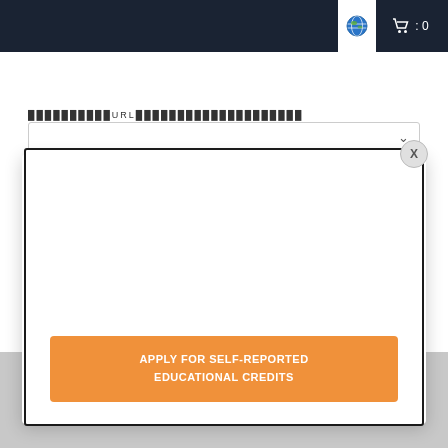[Figure (screenshot): Navigation bar with globe/language icon (highlighted white background) and shopping cart icon with count 0 on dark navy background]
URL (redacted/blurred label for URL input field)
[Figure (screenshot): Dropdown select box with chevron/down arrow]
[Figure (screenshot): Modal dialog with close X button and orange call-to-action button reading APPLY FOR SELF-REPORTED EDUCATIONAL CREDITS]